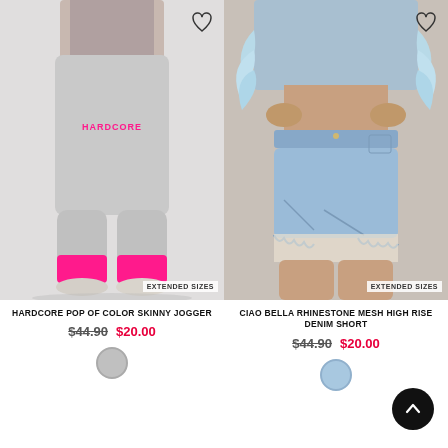[Figure (photo): Back view of a woman wearing grey sweatpants with pink 'HARDCORE' text and pink socks with sandals. Badge reads 'EXTENDED SIZES'. Heart/wishlist icon top right.]
HARDCORE POP OF COLOR SKINNY JOGGER
$44.90  $20.00
[Figure (photo): Close-up of a woman wearing light wash denim cutoff shorts with rhinestone mesh visible underneath and feather-trimmed jacket. Badge reads 'EXTENDED SIZES'. Heart/wishlist icon top right.]
CIAO BELLA RHINESTONE MESH HIGH RISE DENIM SHORT
$44.90  $20.00